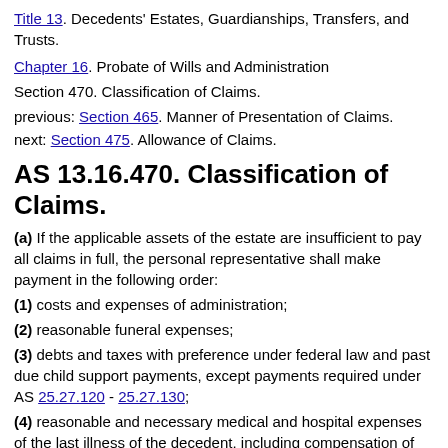Title 13. Decedents' Estates, Guardianships, Transfers, and Trusts.
Chapter 16. Probate of Wills and Administration
Section 470. Classification of Claims.
previous: Section 465. Manner of Presentation of Claims.
next: Section 475. Allowance of Claims.
AS 13.16.470. Classification of Claims.
(a) If the applicable assets of the estate are insufficient to pay all claims in full, the personal representative shall make payment in the following order:
(1) costs and expenses of administration;
(2) reasonable funeral expenses;
(3) debts and taxes with preference under federal law and past due child support payments, except payments required under AS 25.27.120 - 25.27.130;
(4) reasonable and necessary medical and hospital expenses of the last illness of the decedent, including compensation of persons attending the decedent;
(5) debts and taxes with preference under other laws of this state;
(6) all other claims.
(b) Preference may not be given in the payment of any claim over any other